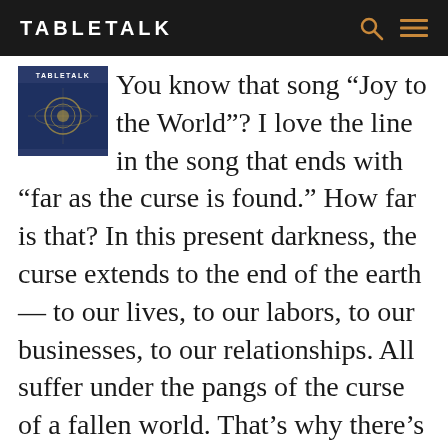TABLETALK
You know that song “Joy to the World”? I love the line in the song that ends with “far as the curse is found.” How far is that? In this present darkness, the curse extends to the end of the earth— to our lives, to our labors, to our businesses, to our relationships. All suffer under the pangs of the curse of a fallen world. That’s why there’s a cosmic yearning, where all of creation groans together waiting for the manifestation of the sons of God, waiting for that moment when the curse is removed (Rom. 8:19). There won’t be any weeds or any tares in the new Jerusalem. The earth won’t resist our plows because the curse won’t be found. “But the